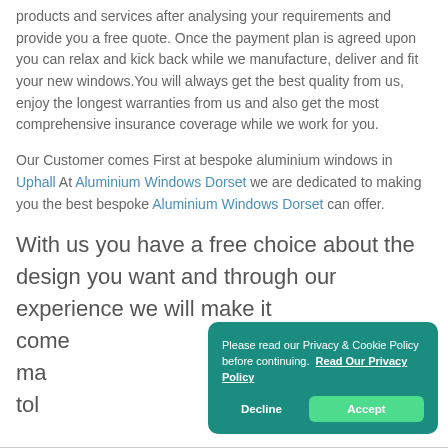products and services after analysing your requirements and provide you a free quote. Once the payment plan is agreed upon you can relax and kick back while we manufacture, deliver and fit your new windows.You will always get the best quality from us, enjoy the longest warranties from us and also get the most comprehensive insurance coverage while we work for you.
Our Customer comes First at bespoke aluminium windows in Uphall At Aluminium Windows Dorset we are dedicated to making you the best bespoke Aluminium Windows Dorset can offer.
With us you have a free choice about the design you want and through our experience we will make it come [to life. We put in 110% of effort to ma[ke what other companies tol[d]...
Please read our Privacy & Cookie Policy before continuing. Read Our Privacy Policy